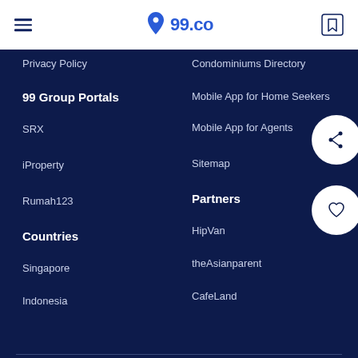99.co navigation header with hamburger menu and bookmark icon
Privacy Policy
Condominiums Directory
99 Group Portals
Mobile App for Home Seekers
SRX
Mobile App for Agents
iProperty
Sitemap
Rumah123
Partners
Countries
HipVan
Singapore
theAsianparent
Indonesia
CafeLand